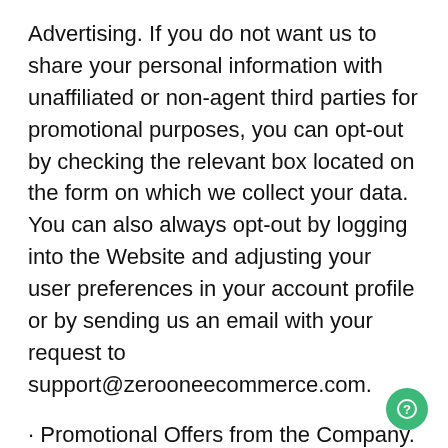Advertising. If you do not want us to share your personal information with unaffiliated or non-agent third parties for promotional purposes, you can opt-out by checking the relevant box located on the form on which we collect your data. You can also always opt-out by logging into the Website and adjusting your user preferences in your account profile or by sending us an email with your request to support@zerooneecommerce.com.
· Promotional Offers from the Company. If you do not wish to have your email address or other contact information used by the Company to promote our own or third parties' products or services, you can opt-out by checking the relevant box located on the form on which